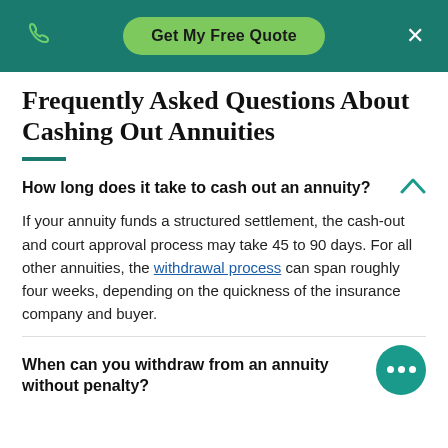Get My Free Quote
Frequently Asked Questions About Cashing Out Annuities
How long does it take to cash out an annuity?
If your annuity funds a structured settlement, the cash-out and court approval process may take 45 to 90 days. For all other annuities, the withdrawal process can span roughly four weeks, depending on the quickness of the insurance company and buyer.
When can you withdraw from an annuity without penalty?